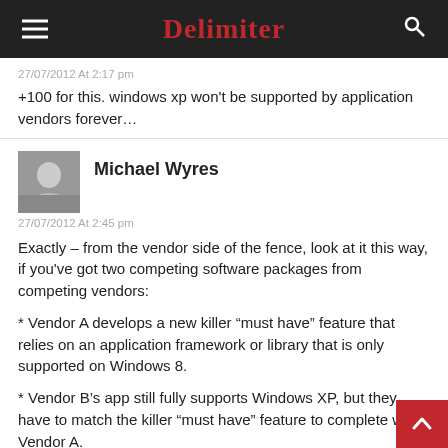Delimiter
27/07/2012 At 2:17 pm
+100 for this. windows xp won't be supported by application vendors forever…
Michael Wyres
27/07/2012 At 2:45 pm
Exactly – from the vendor side of the fence, look at it this way, if you've got two competing software packages from competing vendors:
* Vendor A develops a new killer “must have” feature that relies on an application framework or library that is only supported on Windows 8.
* Vendor B’s app still fully supports Windows XP, but they have to match the killer “must have” feature to complete with Vendor A.